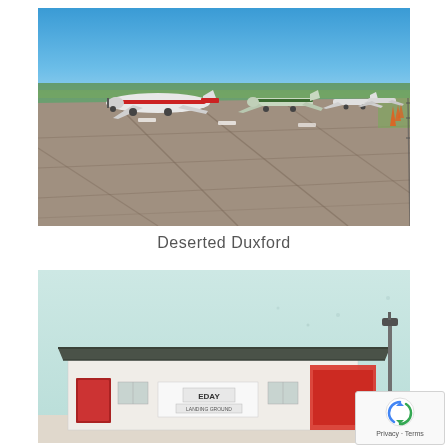[Figure (photo): Aerial tarmac view at Duxford airfield showing several small propeller aircraft parked on a wide concrete apron under a clear blue sky, with flat green fields visible in the background.]
Deserted Duxford
[Figure (photo): Ground-level view of a small airport terminal building with a dark roof, labeled 'EDAY', under a pale overcast sky. A lamp post is visible on the right side.]